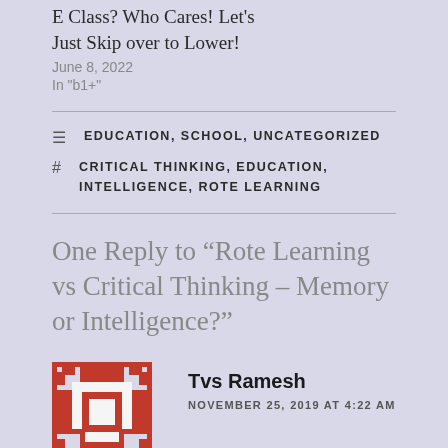E Class? Who Cares! Let's Just Skip over to Lower!
June 8, 2022
In "b1+"
EDUCATION, SCHOOL, UNCATEGORIZED
CRITICAL THINKING, EDUCATION, INTELLIGENCE, ROTE LEARNING
One Reply to “Rote Learning vs Critical Thinking – Memory or Intelligence?”
Tvs Ramesh
NOVEMBER 25, 2019 AT 4:22 AM